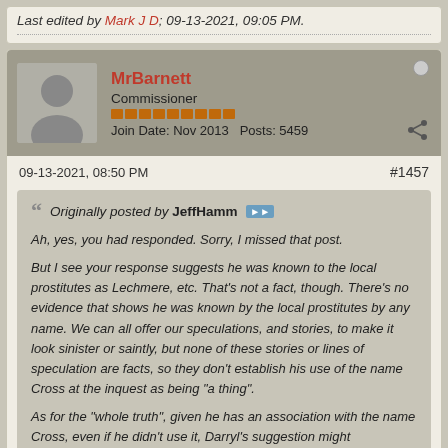Last edited by Mark J D; 09-13-2021, 09:05 PM.
MrBarnett
Commissioner
Join Date: Nov 2013   Posts: 5459
09-13-2021, 08:50 PM   #1457
Originally posted by JeffHamm

Ah, yes, you had responded. Sorry, I missed that post.

But I see your response suggests he was known to the local prostitutes as Lechmere, etc. That's not a fact, though. There's no evidence that shows he was known by the local prostitutes by any name. We can all offer our speculations, and stories, to make it look sinister or saintly, but none of these stories or lines of speculation are facts, so they don't establish his use of the name Cross at the inquest as being "a thing".

As for the "whole truth", given he has an association with the name Cross, even if he didn't use it, Darryl's suggestion might